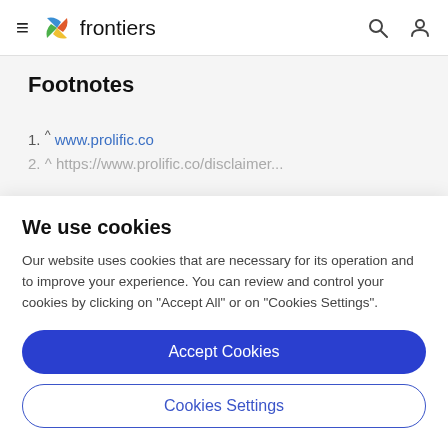frontiers
Footnotes
1. ^ www.prolific.co
2. ^ https://...
We use cookies
Our website uses cookies that are necessary for its operation and to improve your experience. You can review and control your cookies by clicking on "Accept All" or on "Cookies Settings".
Accept Cookies
Cookies Settings